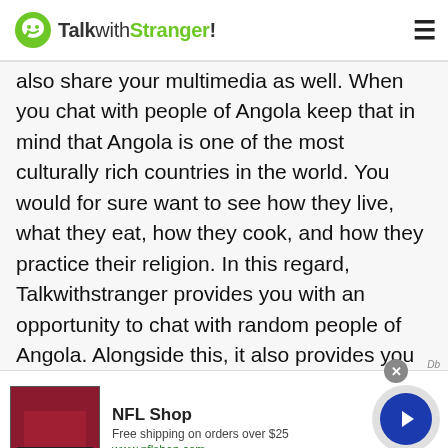TalkwithStranger!
also share your multimedia as well. When you chat with people of Angola keep that in mind that Angola is one of the most culturally rich countries in the world. You would for sure want to see how they live, what they eat, how they cook, and how they practice their religion. In this regard, Talkwithstranger provides you with an opportunity to chat with random people of Angola. Alongside this, it also provides you with the ability to video chat with random people of Angola. This thing is great because you can interact with totally random people.
[Figure (screenshot): NFL Shop advertisement banner with dark red jersey image, 'SHOP NOW' button, text 'Free shipping on orders over $25', and website 'www.nflshop.com']